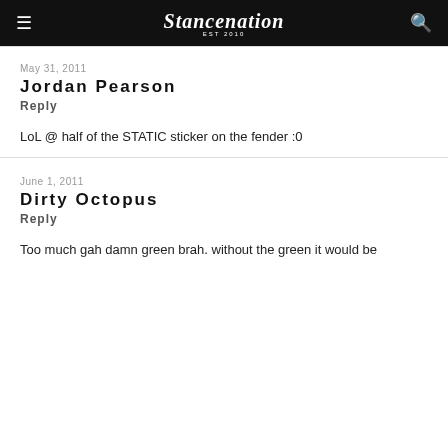Stancenation
May 31, 2011
Jordan Pearson
Reply
LoL @ half of the STATIC sticker on the fender :0
June 1, 2011
Dirty Octopus
Reply
Too much gah damn green brah. without the green it would be